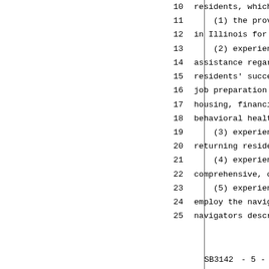10    residents, which is evidenced b
11        (1) the provision of se
12    in Illinois for at least 5
13        (2) experience providin
14    assistance regarding issues
15    residents' success in life,
16    job preparation training, s
17    housing, financial and digi
18    behavioral health;
19        (3) experience providin
20    returning residents;
21        (4) experience providin
22    comprehensive, coordinated,
23        (5) experience using se
24    employ the navigators or pe
25    navigators described in thi
SB3142                         - 5 -